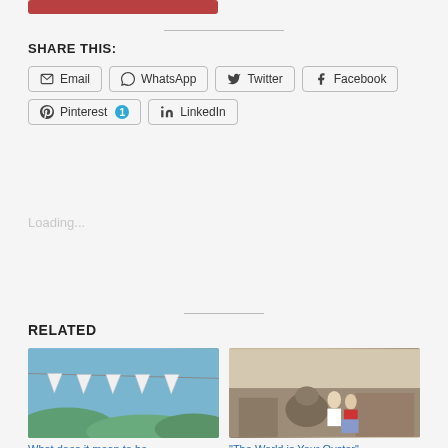[Figure (other): Partial red button at top of page]
SHARE THIS:
Email
WhatsApp
Twitter
Facebook
Pinterest 1
LinkedIn
Loading...
RELATED
[Figure (photo): Photo of UK Union Jack bunting flags against a green/blue outdoor background]
What does it mean to be
[Figure (photo): Two women sitting on stone steps/ruins at an ancient site, one wearing red scarf]
"The World is Your Oyster" –